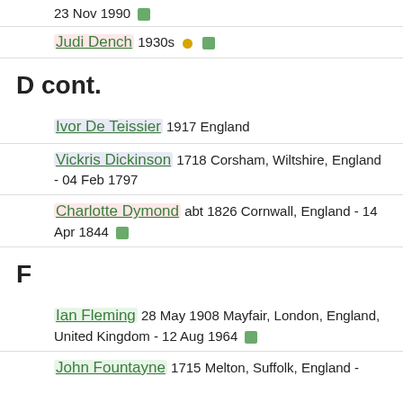23 Nov 1990
Judi Dench 1930s
D cont.
Ivor De Teissier 1917 England
Vickris Dickinson 1718 Corsham, Wiltshire, England - 04 Feb 1797
Charlotte Dymond abt 1826 Cornwall, England - 14 Apr 1844
F
Ian Fleming 28 May 1908 Mayfair, London, England, United Kingdom - 12 Aug 1964
John Fountayne 1715 Melton, Suffolk, England -